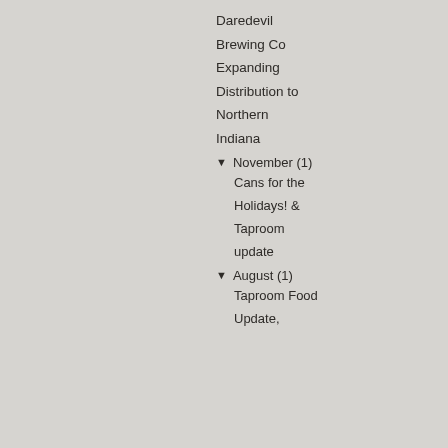Daredevil Brewing Co Expanding Distribution to Northern Indiana
▼ November (1)
Cans for the Holidays! & Taproom update
▼ August (1)
Taproom Food Update,